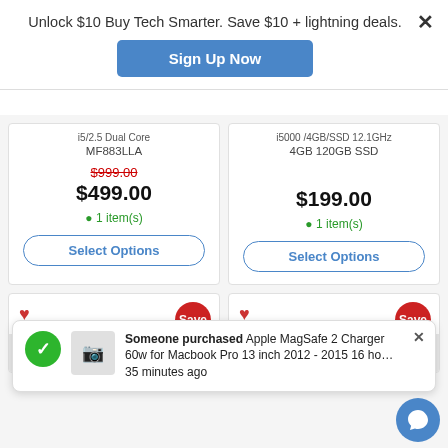Unlock $10 Buy Tech Smarter. Save $10 + lightning deals.
Sign Up Now
MF883LLA
$999.00 (strikethrough) $499.00 • 1 item(s) [Select Options]
4GB 120GB SSD
$199.00 • 1 item(s) [Select Options]
Someone purchased Apple MagSafe 2 Charger 60w for Macbook Pro 13 inch 2012 - 2015 16 ho... 35 minutes ago